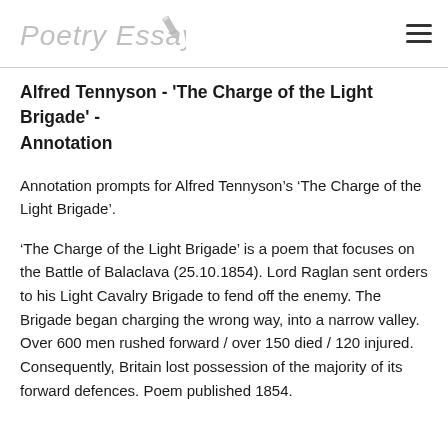Poetry Essay
Alfred Tennyson - 'The Charge of the Light Brigade' - Annotation
Annotation prompts for Alfred Tennyson’s ‘The Charge of the Light Brigade’.
‘The Charge of the Light Brigade’ is a poem that focuses on the Battle of Balaclava (25.10.1854). Lord Raglan sent orders to his Light Cavalry Brigade to fend off the enemy. The Brigade began charging the wrong way, into a narrow valley. Over 600 men rushed forward / over 150 died / 120 injured. Consequently, Britain lost possession of the majority of its forward defences. Poem published 1854.